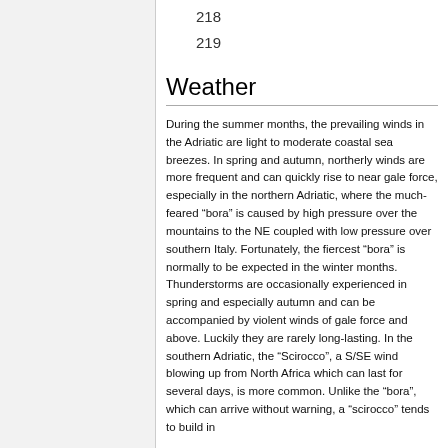218
219
Weather
During the summer months, the prevailing winds in the Adriatic are light to moderate coastal sea breezes. In spring and autumn, northerly winds are more frequent and can quickly rise to near gale force, especially in the northern Adriatic, where the much-feared “bora” is caused by high pressure over the mountains to the NE coupled with low pressure over southern Italy. Fortunately, the fiercest “bora” is normally to be expected in the winter months. Thunderstorms are occasionally experienced in spring and especially autumn and can be accompanied by violent winds of gale force and above. Luckily they are rarely long-lasting. In the southern Adriatic, the “Scirocco”, a S/SE wind blowing up from North Africa which can last for several days, is more common. Unlike the “bora”, which can arrive without warning, a “scirocco” tends to build in